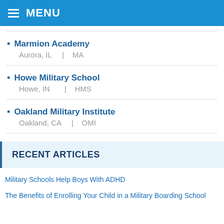MENU
Marmion Academy
Aurora, IL | MA
Howe Military School
Howe, IN | HMS
Oakland Military Institute
Oakland, CA | OMI
RECENT ARTICLES
Military Schools Help Boys With ADHD
The Benefits of Enrolling Your Child in a Military Boarding School